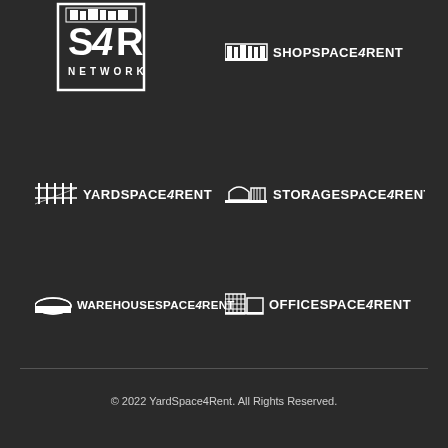[Figure (logo): S4R Network logo - square border with large S4R text and NETWORK below]
[Figure (logo): ShopSpace4Rent logo with warehouse building icon and text]
[Figure (logo): YardSpace4Rent logo with fence/yard icon and text]
[Figure (logo): StorageSpace4Rent logo with storage building icon and text]
[Figure (logo): WarehouseSpace4Rent logo with warehouse icon and text]
[Figure (logo): OfficeSpace4Rent logo with office building icon and text]
© 2022 YardSpace4Rent. All Rights Reserved.